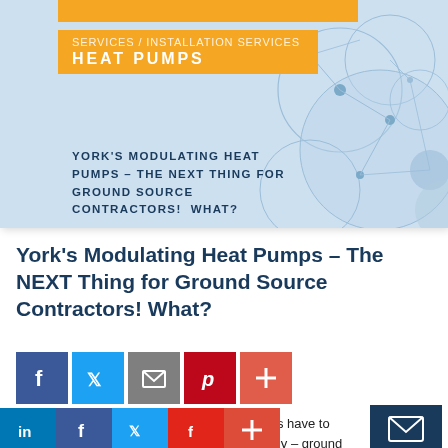[Figure (illustration): Hero banner with light blue background, orange 'HEAT PUMPS' label, decorative network/circuit diagram with circles and lines, and title text 'YORK'S MODULATING HEAT PUMPS – THE NEXT THING FOR GROUND SOURCE CONTRACTORS! WHAT?' in dark navy uppercase.]
York's Modulating Heat Pumps – The NEXT Thing for Ground Source Contractors! What?
[Figure (infographic): Social media sharing buttons: Facebook, Twitter, Email, Pinterest, Plus]
What do YORK's new Modulating Heat Pumps have to do with you? Quite a lot it turns out. Here's why – ground source heat pumps are successfully sold in areas w...